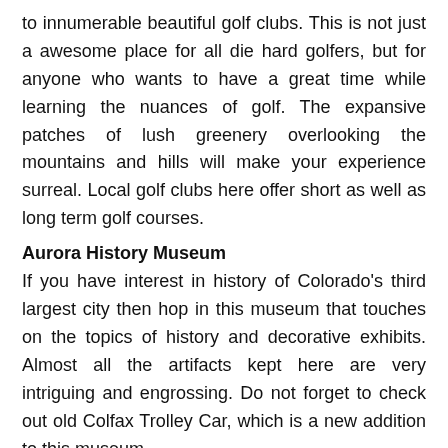to innumerable beautiful golf clubs. This is not just a awesome place for all die hard golfers, but for anyone who wants to have a great time while learning the nuances of golf. The expansive patches of lush greenery overlooking the mountains and hills will make your experience surreal. Local golf clubs here offer short as well as long term golf courses.
Aurora History Museum
If you have interest in history of Colorado's third largest city then hop in this museum that touches on the topics of history and decorative exhibits. Almost all the artifacts kept here are very intriguing and engrossing. Do not forget to check out old Colfax Trolley Car, which is a new addition to this museum.
Address: 15051 E Alameda Pkwy, Aurora, CO 80012, United States